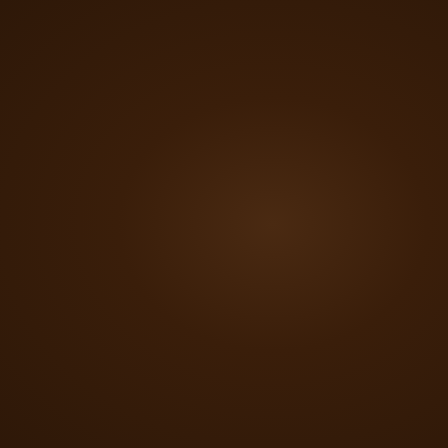wasteremovalcalgary.yu...
14. GARBAGE DISPOSAL SE... Roll out Containers; R... http://w... wasteremovalcalgary.y...
15. WASTE DISPOSAL CAL... Calgary Waste Dumpsters... Roll Off Junk Bins Ren... http://wasteremova... wasteremovalca... wasteremovalcalgary...
16. ALL SIZE WASTE DUMP... Container... wasteremovalca... wasteremovalcalgary.y...
17. STEEL GARBAGE BINS C... Junk Removal-Dumps... Dumpster Rent Calgary... Management Roll Off Dun... Calgary... wasteremovalcalgary.y...
18. Dumpster Rental Links Ca... Bins Renta... http://wasteremovalcalg... wasteremovalcalgary.yol...
19. WASTE REMOVAL CONT... Containers; Roll off Dump... R... wasteremovalcalgary.y...
20. GARBAGE COLLECTION... Containers; Roll of...